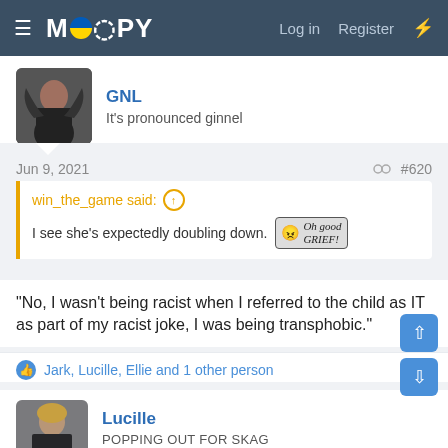MOOPY — Log in  Register
GNL
It's pronounced ginnel
Jun 9, 2021  #620
win_the_game said: ↑
I see she's expectedly doubling down. [Oh good GRIEF!]
"No, I wasn't being racist when I referred to the child as IT as part of my racist joke, I was being transphobic."
Jark, Lucille, Ellie and 1 other person
Lucille
POPPING OUT FOR SKAG